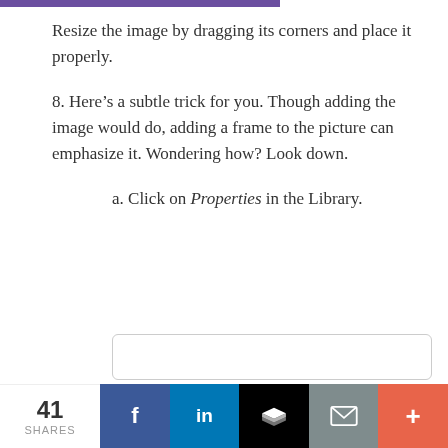Resize the image by dragging its corners and place it properly.
8. Here’s a subtle trick for you. Though adding the image would do, adding a frame to the picture can emphasize it. Wondering how? Look down.
a. Click on Properties in the Library.
41 SHARES | f | in | [buffer] | [mail] | +